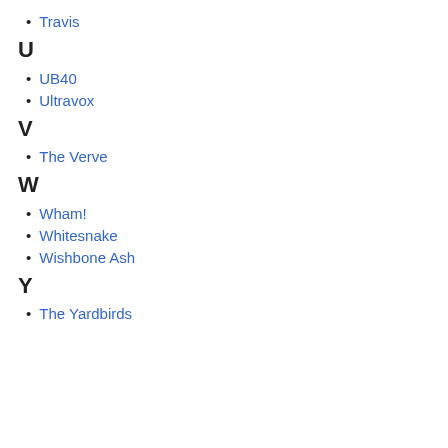Travis
U
UB40
Ultravox
V
The Verve
W
Wham!
Whitesnake
Wishbone Ash
Y
The Yardbirds